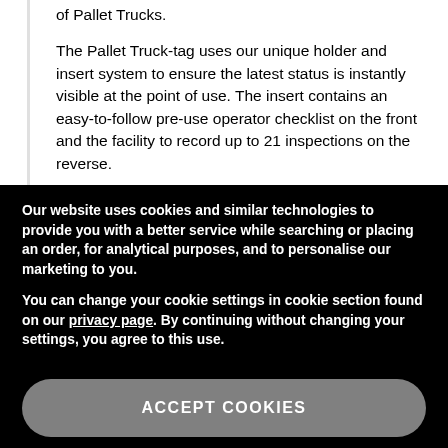of Pallet Trucks.
The Pallet Truck-tag uses our unique holder and insert system to ensure the latest status is instantly visible at the point of use. The insert contains an easy-to-follow pre-use operator checklist on the front and the facility to record up to 21 inspections on the reverse.
The holder provides multiple attachment options
Our website uses cookies and similar technologies to provide you with a better service while searching or placing an order, for analytical purposes, and to personalise our marketing to you.
You can change your cookie settings in cookie section found on our privacy page. By continuing without changing your settings, you agree to this use.
Change Cookie Settings
ACCEPT COOKIES